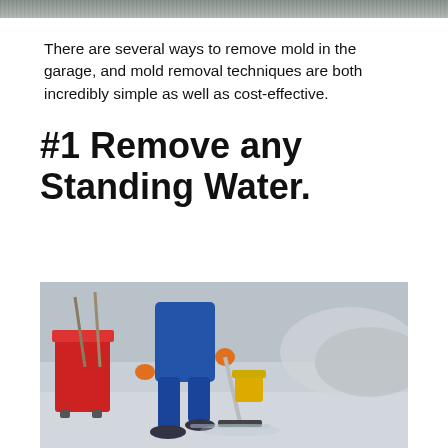[Figure (photo): Top portion of a photo showing a wet/damp surface, partially visible at the top of the page]
There are several ways to remove mold in the garage, and mold removal techniques are both incredibly simple as well as cost-effective.
#1 Remove any Standing Water.
[Figure (photo): A person in a blue uniform and orange gloves using a floor squeegee/mop in a garage, with a red cleaning cart visible in the background and cars blurred in the right background]